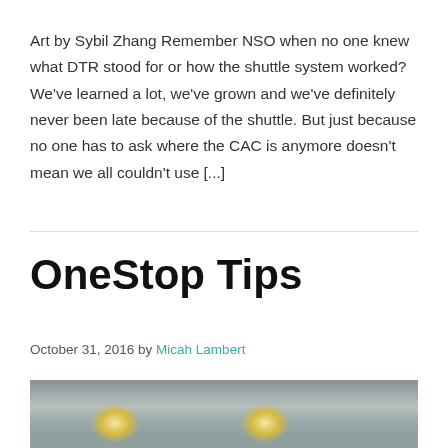Art by Sybil Zhang Remember NSO when no one knew what DTR stood for or how the shuttle system worked? We've learned a lot, we've grown and we've definitely never been late because of the shuttle. But just because no one has to ask where the CAC is anymore doesn't mean we all couldn't use [...]
OneStop Tips
October 31, 2016 by Micah Lambert
[Figure (photo): Interior photo of a building/office space showing ceiling with recessed lighting panels and lamps with warm light, people visible in background]